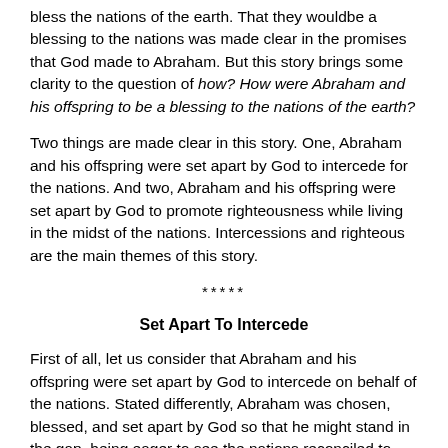bless the nations of the earth. That they wouldbe a blessing to the nations was made clear in the promises that God made to Abraham. But this story brings some clarity to the question of how? How were Abraham and his offspring to be a blessing to the nations of the earth?
Two things are made clear in this story. One, Abraham and his offspring were set apart by God to intercede for the nations. And two, Abraham and his offspring were set apart by God to promote righteousness while living in the midst of the nations. Intercessions and righteous are the main themes of this story.
*****
Set Apart To Intercede
First of all, let us consider that Abraham and his offspring were set apart by God to intercede on behalf of the nations. Stated differently, Abraham was chosen, blessed, and set apart by God so that he might stand in the gap, being eager to see the nations reconciled to God. He was to be concerned for the nations that they might also come into a right relationship with God and give glory to his name. This principle is clearly seen in the intercessory role that Abraham takes in the story that is before us today.